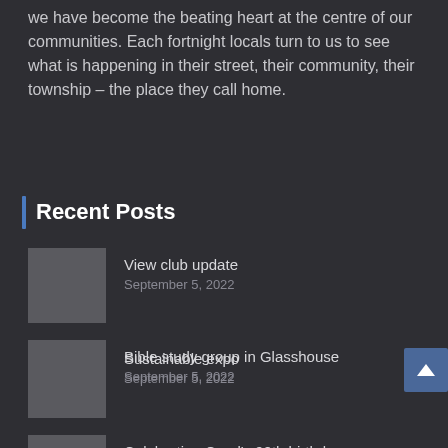we have become the beating heart at the centre of our communities. Each fortnight locals turn to us to see what is happening in their street, their community, their township – the place they call home.
Recent Posts
View club update
September 5, 2022
Sustainable expo
September 5, 2022
Bible study group in Glasshouse
September 5, 2022
Celebrating Coral's 90th birthday
September 4, 2022